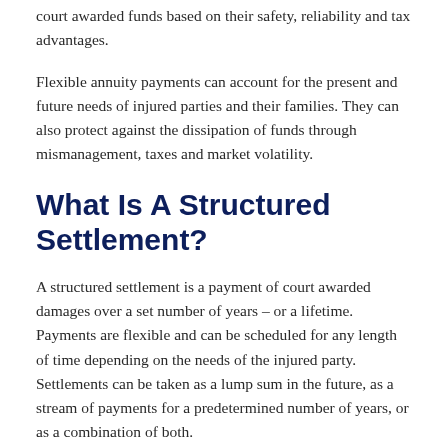court awarded funds based on their safety, reliability and tax advantages.
Flexible annuity payments can account for the present and future needs of injured parties and their families. They can also protect against the dissipation of funds through mismanagement, taxes and market volatility.
What Is A Structured Settlement?
A structured settlement is a payment of court awarded damages over a set number of years – or a lifetime. Payments are flexible and can be scheduled for any length of time depending on the needs of the injured party. Settlements can be taken as a lump sum in the future, as a stream of payments for a predetermined number of years, or as a combination of both.